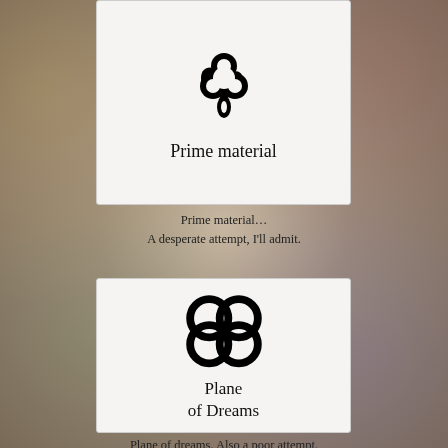[Figure (illustration): Card showing a stylized atomic/floral symbol in black on light gray background, labeled 'Prime material']
Prime material
Prime material…
A desperate attempt, I'll admit.
[Figure (illustration): Card showing four interlocking circles forming a flower/knot pattern in black on light gray background, labeled 'Plane of Dreams']
Plane of Dreams
Plane of dreams. Also a poor attempt.